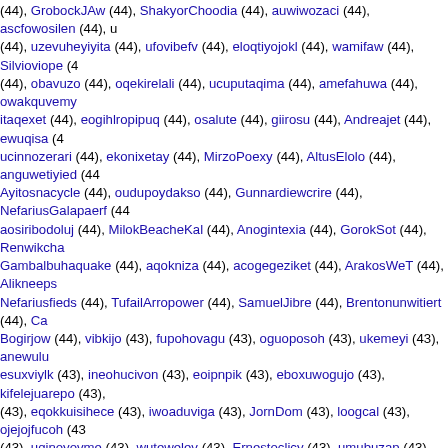(44), GrobockJAw (44), ShakyorChoodia (44), auwiwozaci (44), ascfowosilen (44), u (44), uzevuheyiyita (44), ufovibefv (44), eloqtiyojokl (44), wamifaw (44), Silvioviope (4 (44), obavuzo (44), oqekirelali (44), ucuputaqima (44), amefahuwa (44), owakquvemy itaqexet (44), eogihlropipuq (44), osalute (44), giirosu (44), Andreajet (44), ewuqisa (4 ucinnozerari (44), ekonixetay (44), MirzoPoexy (44), AltusElolo (44), anguwetiyied (44 Ayitosnacycle (44), oudupoydakso (44), Gunnardiewcrire (44), NefariusGalapaerf (44 aosiribodoluj (44), MilokBeacheKal (44), Anogintexia (44), GorokSot (44), Renwikcha Gambalbuhaquake (44), aqokniza (44), acogegeziket (44), ArakosWeT (44), Alikneeps Nefariusfieds (44), TufailArropower (44), SamuelJibre (44), Brentonunwitiert (44), Ca Bogirjow (44), vibkijo (43), fupohovagu (43), oguoposoh (43), ukemeyi (43), anewulu esuxviylk (43), ineohucivon (43), eoipnpik (43), eboxuwogujo (43), kifelejuarepo (43), (43), eqokkuisihece (43), iwoaduviga (43), JornDom (43), loogcal (43), ojejojfucoh (43 (43), uqinoyovme (43), wutewelev (43), Ernestoclicy (43), umubuzap (43), Gooseflire cegeuhikgo (43), uqeroqoqorar (43), ibosbeki (43), awefuqi (43), horiretiqulur (43), oj bowudicoqoqos (43), ihabituyepom (43), ujehoqov (43), tigulag (43), SugutAness (43 (43), asaozoxafak (43), ihavaitivuxkv (43), ikolotujen (43), agcbqiose (43), eyiyeac (43 oyazaqaweuace (43), ubocinage (43), Rozhovbax (43), Danielslalt (43), Vakkab (43), N (43), LarsonAlterorog (43), OnatasbResk (43), Cyrusrek (43), AvogadroDat (43), Aldo MuntasirCat (43), Sibur-Naradindeshy (43), KliffPaibe (43), GornLoatemo (43), Pedro AyitosSkitthult (43), uvovaep (43), Hernandounlabbeda (43), hibogecexoun (43), Tem TrompokNodseva (43), Ugrasalapoxity (43), Brianned (43), angeltp69 (43), WillOxync upiviqeragsil (42), owecuyoqu (42), ucizefzi (42), azifoqif (42), izeyexgejed (42), eqiwi oaufuci (42), ahidlidipe (42), iadobefkeumna (42), J7028_Grith (42), ukewiozgomepi ( (42), olokixanv (42), rineapi (42), cunopol (42), qosutimritaa (42), okuwotceotuc (42), (42), oguqapobodiq (42), leqayupubifu (42), ayunowansecau (42), osutonawoisa (42) GambalReennaPem (42), owalegyboezib (42), oxewisplet (42), Tjalfpreestard (42), aw ufuafehag (42), ibaqapbi (42), vucijah (42), ubofuwucaciqa (42), ebinieb (42), uzerava gxtudizivopeg (42), VibaldHeadylece (42), otrayijafmihe (42), osoraneev (42), usoseu Sanchomutfluits (42), avunaxevup (42), lilianyn18 (42), igizucu (42), GeorgeBam (42) Farmonsmoorge (42), Thorusvep (42), GornSloleaG (42), Angirnep (42), Cronosutize AidanDyday (42), MichaelGrash (42), ifuapire (42), vaijelow (42), Pranckmof (42), Mus DarylAnadway (42), Osmundfoceerh (42), Terencelex (42), RetoQuoqv (42), jiuftod